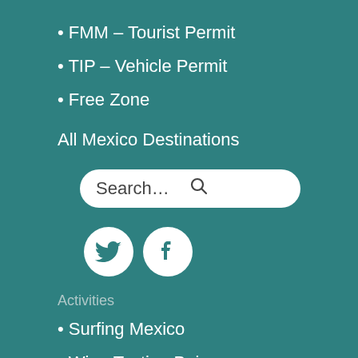• FMM – Tourist Permit
• TIP – Vehicle Permit
• Free Zone
All Mexico Destinations
[Figure (screenshot): Search bar with placeholder text 'Search…' and a search icon on the right, white rounded rectangle on teal background]
[Figure (infographic): Twitter and Facebook social media icons as white circles with teal logos]
Activities
• Surfing Mexico
• Wine Tasting Baja